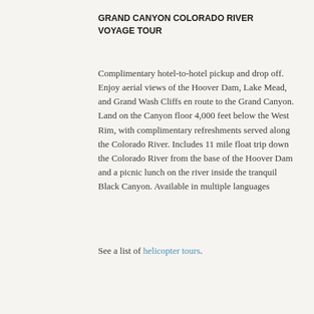GRAND CANYON COLORADO RIVER VOYAGE TOUR
Complimentary hotel-to-hotel pickup and drop off. Enjoy aerial views of the Hoover Dam, Lake Mead, and Grand Wash Cliffs en route to the Grand Canyon. Land on the Canyon floor 4,000 feet below the West Rim, with complimentary refreshments served along the Colorado River. Includes 11 mile float trip down the Colorado River from the base of the Hoover Dam and a picnic lunch on the river inside the tranquil Black Canyon. Available in multiple languages
See a list of helicopter tours.